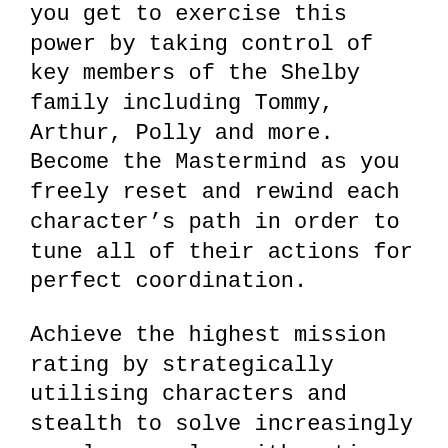you get to exercise this power by taking control of key members of the Shelby family including Tommy, Arthur, Polly and more. Become the Mastermind as you freely reset and rewind each character's path in order to tune all of their actions for perfect coordination.
Achieve the highest mission rating by strategically utilising characters and stealth to solve increasingly complex puzzles with optimum timing.
KEY FEATURES:
– TRUE TO THE TV SHOW
Take control of Tommy, Arthur, Polly, John, Ada and Finn as they navigate through